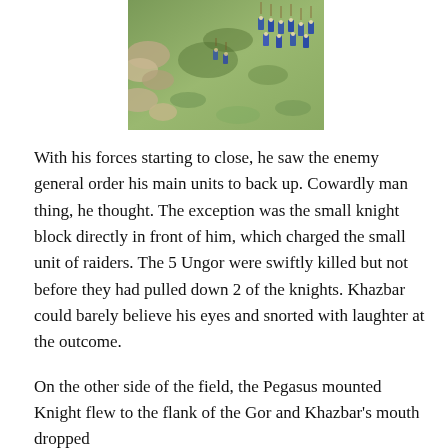[Figure (photo): Aerial/overhead view of miniature wargaming figures on a green terrain board. Blue and white uniformed soldiers are visible on the right side, with rocky terrain on the left.]
With his forces starting to close, he saw the enemy general order his main units to back up. Cowardly man thing, he thought. The exception was the small knight block directly in front of him, which charged the small unit of raiders. The 5 Ungor were swiftly killed but not before they had pulled down 2 of the knights. Khazbar could barely believe his eyes and snorted with laughter at the outcome.
On the other side of the field, the Pegasus mounted Knight flew to the flank of the Gor and Khazbar's mouth dropped